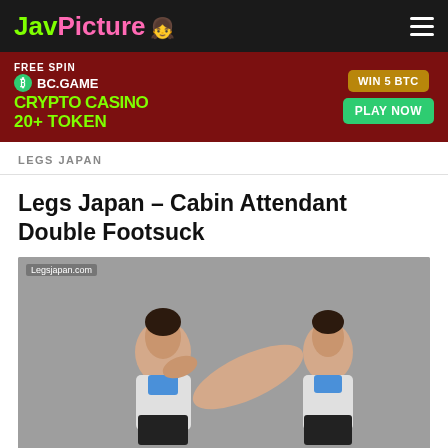JavPicture
[Figure (photo): BC.GAME crypto casino advertisement banner: FREE SPIN, CRYPTO CASINO, 20+ TOKEN, WIN 5 BTC, PLAY NOW]
LEGS JAPAN
Legs Japan – Cabin Attendant Double Footsuck
[Figure (photo): Photo of two women in cabin attendant uniforms on a grey background, watermarked 'Legsjapan.com']